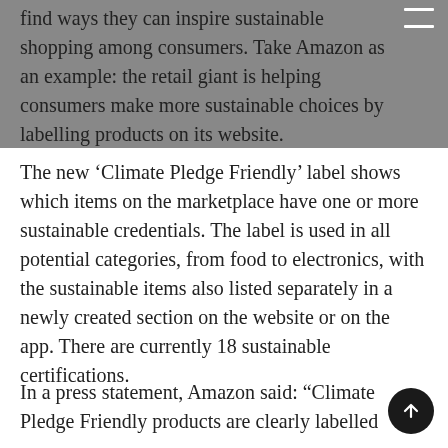find ways they can inspire sustainable shopping among consumers. Take Amazon as an example: the retail giant is helping consumers make more sustainable choices by labelling products on its website.
The new ‘Climate Pledge Friendly’ label shows which items on the marketplace have one or more sustainable credentials. The label is used in all potential categories, from food to electronics, with the sustainable items also listed separately in a newly created section on the website or on the app. There are currently 18 sustainable certifications.
In a press statement, Amazon said: “Climate Pledge Friendly products are clearly labelled